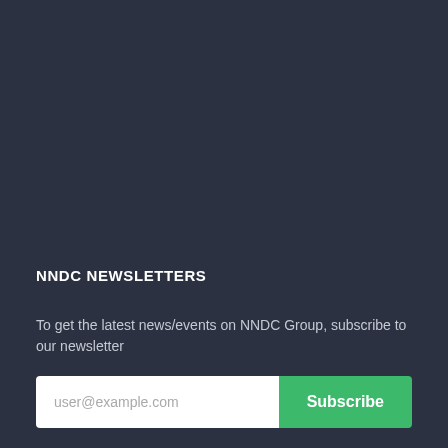NNDC NEWSLETTERS
To get the latest news/events on NNDC Group, subscribe to our newsletter
[Figure (other): Email subscription form with placeholder text 'user@example.com' and a green 'Subscribe' button]